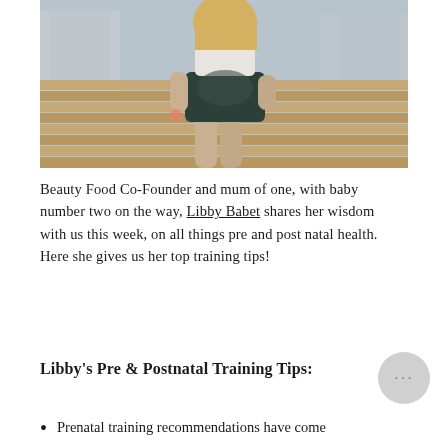[Figure (photo): A pregnant woman with blonde hair wearing a white crop top and dark green biker shorts, standing outdoors near wooden fence/deck with buildings in background.]
Beauty Food Co-Founder and mum of one, with baby number two on the way, Libby Babet shares her wisdom with us this week, on all things pre and post natal health. Here she gives us her top training tips!
Libby's Pre & Postnatal Training Tips:
Prenatal training recommendations have come